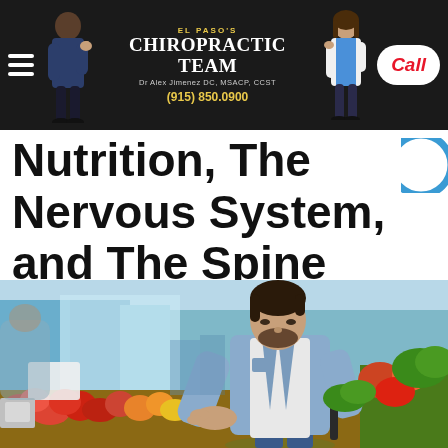El Paso's Chiropractic Team | Dr Alex Jimenez DC, MSACP, CCST | (915) 850.0900 | Call
Nutrition, The Nervous System, and The Spine
[Figure (photo): Man in a denim jacket shopping at a grocery store produce section, leaning over a display of apples and fruit, holding a basket with greens, with a bright colorful market background.]